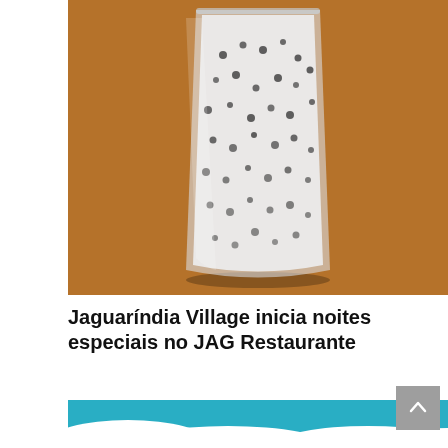[Figure (photo): Close-up photo of a stemless glass filled with a light milky drink with black seeds (likely basil seeds or chia), sitting on a warm wooden table background.]
Jaguaríndia Village inicia noites especiais no JAG Restaurante
[Figure (photo): Bottom portion of a photo showing white clouds against a bright teal/blue sky.]